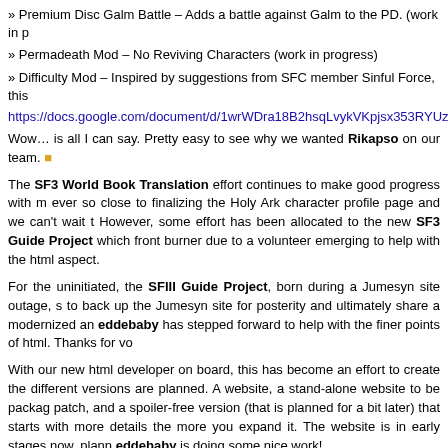» Premium Disc Galm Battle – Adds a battle against Galm to the PD. (work in p
» Permadeath Mod – No Reviving Characters (work in progress)
» Difficulty Mod – Inspired by suggestions from SFC member Sinful Force, this
https://docs.google.com/document/d/1wrWDra18B2hsqLvykVKpjsx353RYUzDn7
Wow… is all I can say. Pretty easy to see why we wanted Rikapso on our team.
The SF3 World Book Translation effort continues to make good progress with m ever so close to finalizing the Holy Ark character profile page and we can't wait t However, some effort has been allocated to the new SF3 Guide Project which front burner due to a volunteer emerging to help with the html aspect.
For the uninitiated, the SFIII Guide Project, born during a Jumesyn site outage, s to back up the Jumesyn site for posterity and ultimately share a modernized an eddebaby has stepped forward to help with the finer points of html. Thanks for vo
With our new html developer on board, this has become an effort to create the different versions are planned. A website, a stand-alone website to be packag patch, and a spoiler-free version (that is planned for a bit later) that starts with more details the more you expand it. The website is in early stages now, plann eddebaby is doing some nice work!
Lots of exciting things happening with our favorite game!